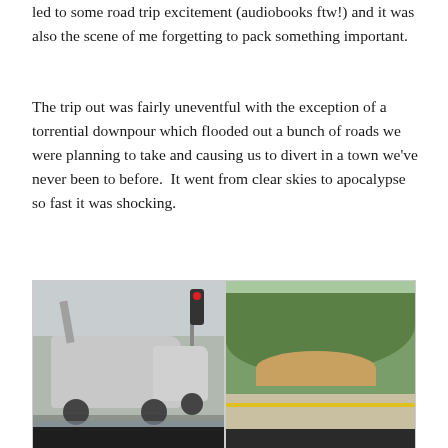led to some road trip excitement (audiobooks ftw!) and it was also the scene of me forgetting to pack something important.
The trip out was fairly uneventful with the exception of a torrential downpour which flooded out a bunch of roads we were planning to take and causing us to divert in a town we've never been to before.  It went from clear skies to apocalypse so fast it was shocking.
[Figure (photo): Two side-by-side photos taken from inside a car. Left photo shows a utility/bucket truck driving through a flooded intersection with a red traffic light visible. Right photo shows a dry road with a hillside of green vegetation and a dirt/sand pile alongside the road.]